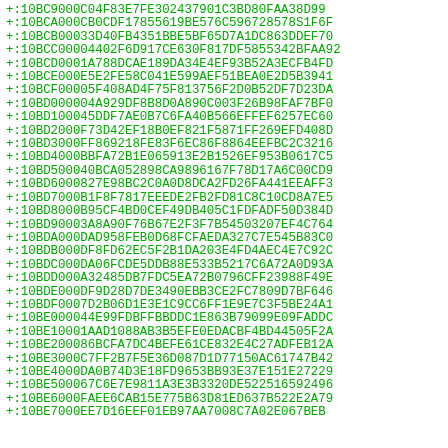+:10BC9000C04F83E7FE302437901C3BD80FAA38D99
+:10BCA000CB0CDF17855619BE576C596728578S1F6F
+:10BCB00033D40FB4351BBE5BF65D7A1DC863DDEF70
+:10BCC00004402F6D917CE630F817DF5855342BFAA92
+:10BCD0001A788DCAE189DA34E4EF93B52A3ECFB4FD
+:10BCE000E5E2FE58C041E599AEF51BEA0E2D5B3941
+:10BCF00005F408AD4F75F813756F2D0B52DF7D23DA
+:10BD000004A929DF8B8D0A890C003F26B98FAF7BF0
+:10BD100045DDF7AE0B7C6FA40B566EFFEF6257EC60
+:10BD2000F73D42EF18B0EF821F5871FF269EFD408D
+:10BD3000FF869218FE83F6EC86F8864EEFBC2C3216
+:10BD4000BBFA72B1E065913E2B1526EF953B0617C5
+:10BD500040BCA052898CA9896167F78D17A6C00CD9
+:10BD6000827E98BC2C0A0D8DCA2FD26FA441EEAFF3
+:10BD7000B1F8F7817EEEDE2FB2FD81C8C10CD8A7E5
+:10BD8000B95CF4BD0CEF49DB405C1FDFADF50D384D
+:10BD90003A8A90F76B67E2F3F7B54503207EF4C764
+:10BDA000DAD958FEB0D68FCFAEDA327C7E545B83C0
+:10BDB000DF8FD62EC5F2B1DA203E4FD4AEC4E7C92C
+:10BDC000DA06FCDE5DDB88E533B5217C6A72A0D93A
+:10BDD000A32485DB7FDC5EA72B0796CFF23988F49E
+:10BDE000DF9D28D7DE3490EBB3CE2FC7809D7BF646
+:10BDF0007D2B06D1E3E1C9CC6FF1E9E7C3F5BE24A1
+:10BE000044E99FDBFFBBDDC1E863B79099E09FADDC
+:10BE10001AAD1088AB3B5EFE0EDACBF4BD44505F2A
+:10BE200086BCFA7DC4BEFE61CE832E4C27ADFEB12A
+:10BE3000C7FF2B7F5E36D087D1D77150AC61747B42
+:10BE4000DA0B74D3E18FD9653BB93E37E151E27229
+:10BE500067C6E7E9811A3E3B3320DE522516592496
+:10BE6000FAEE6CAB15E775B63D81ED637B522E2A79
+:10BE7000EE7D16EEF01EB97AA7008C7A02E067BEB